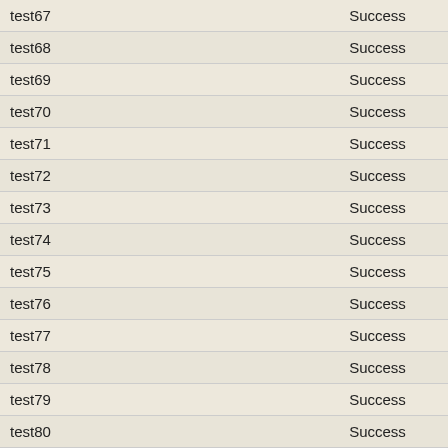| Test | Result |
| --- | --- |
| test67 | Success |
| test68 | Success |
| test69 | Success |
| test70 | Success |
| test71 | Success |
| test72 | Success |
| test73 | Success |
| test74 | Success |
| test75 | Success |
| test76 | Success |
| test77 | Success |
| test78 | Success |
| test79 | Success |
| test80 | Success |
| test81 | Success |
| test82 | Success |
| testZeroLengthSelection0 | Success |
| testFail18 | Success |
| testFail19 | Success |